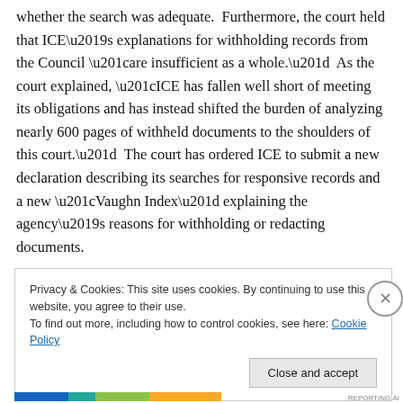whether the search was adequate.  Furthermore, the court held that ICE’s explanations for withholding records from the Council “are insufficient as a whole.”  As the court explained, “ICE has fallen well short of meeting its obligations and has instead shifted the burden of analyzing nearly 600 pages of withheld documents to the shoulders of this court.”  The court has ordered ICE to submit a new declaration describing its searches for responsive records and a new “Vaughn Index” explaining the agency’s reasons for withholding or redacting documents.
Privacy & Cookies: This site uses cookies. By continuing to use this website, you agree to their use.
To find out more, including how to control cookies, see here: Cookie Policy